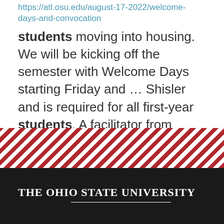https://atl.osu.edu/august-17-2022/welcome-days-and-convocation
students moving into housing. We will be kicking off the semester with Welcome Days starting Friday and ... Shisler and is required for all first-year students. A facilitator from Camp Nuhop will be joining us ...
1 2 3 4 5 6 7 8 9 ···next › last »
[Figure (other): Diagonal red and white striped decorative band]
The Ohio State University